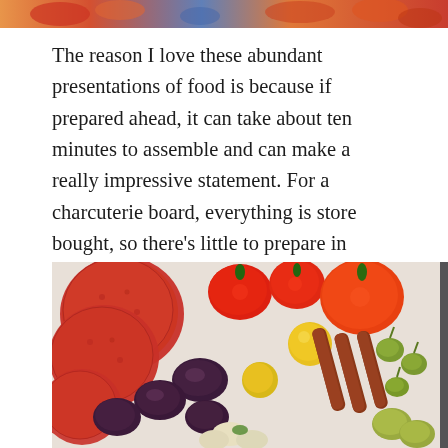[Figure (photo): Partial top strip of a food/charcuterie photo visible at the very top of the page — colorful food items in warm orange, red, and blue tones.]
The reason I love these abundant presentations of food is because if prepared ahead, it can take about ten minutes to assemble and can make a really impressive statement. For a charcuterie board, everything is store bought, so there's little to prepare in advance. Simply arrange before serving.
[Figure (photo): Close-up overhead photo of a charcuterie board featuring pepperoni slices, stuffed mini red peppers, Kalamata olives, yellow cherry tomatoes, summer sausage sticks, caperberries, and marinated cauliflower/artichokes.]